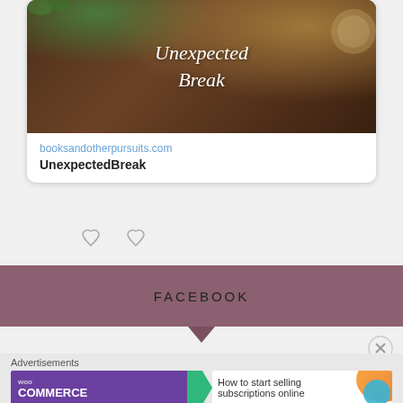[Figure (screenshot): A card showing a coffee/food image with italic text 'Unexpected Break' overlaid on a dark brown background]
booksandotherpursuits.com
UnexpectedBreak
FACEBOOK
Advertisements
[Figure (screenshot): WooCommerce advertisement banner saying 'How to start selling subscriptions online']